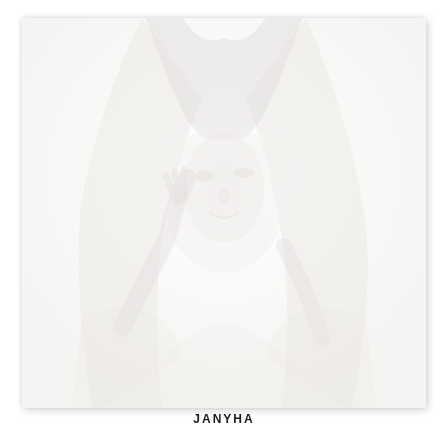[Figure (photo): A very faded/washed-out portrait photograph of a woman with long braided hair, smiling, with one hand raised near her face. The image is extremely light/overexposed, appearing almost entirely white with subtle form details visible.]
JANYHA